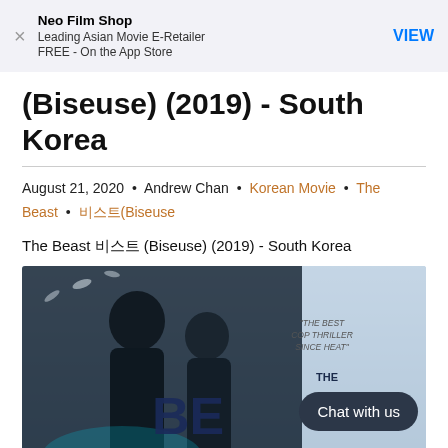Neo Film Shop | Leading Asian Movie E-Retailer | FREE - On the App Store | VIEW
(Biseuse) (2019) - South Korea
August 21, 2020 • Andrew Chan • Korean Movie • The Beast • 비스트(Biseuse
The Beast 비스트 (Biseuse) (2019) - South Korea
[Figure (photo): Movie poster for The Beast (Biseuse) 2019, showing two dark figures back-to-back, with the text 'THE BEST COP THRILLER SINCE HEAT', 'THE BEAST' title partially visible, and 'HOW FAR WOULD YOU GO FOR JUSTICE?' at the bottom. A 'Chat with us' button overlays the bottom right.]